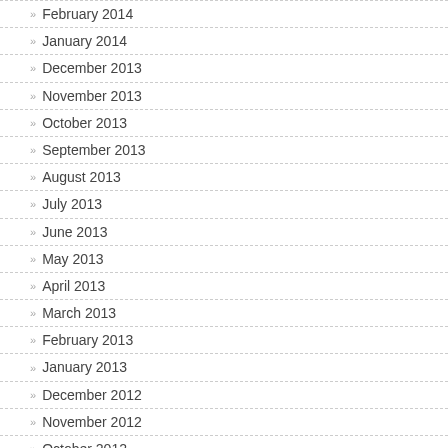February 2014
January 2014
December 2013
November 2013
October 2013
September 2013
August 2013
July 2013
June 2013
May 2013
April 2013
March 2013
February 2013
January 2013
December 2012
November 2012
October 2012
September 2012
August 2012
July 2012
June 2012